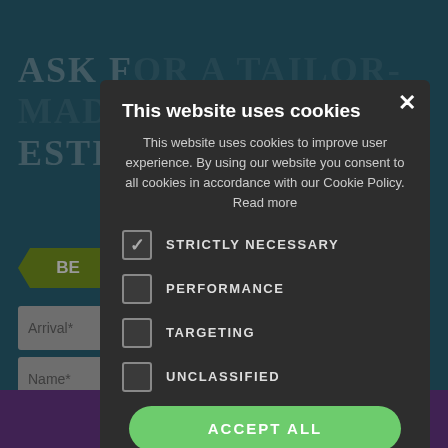[Figure (screenshot): Background website page showing a hotel booking form with teal background, title 'ASK FOR A TAILOR-MADE ESTIMATE', a green arrow button, and input fields for Arrival, Name, Email, Room, and Adults. Purple footer bar with 'PRENOTA ORA' text.]
This website uses cookies
This website uses cookies to improve user experience. By using our website you consent to all cookies in accordance with our Cookie Policy. Read more
STRICTLY NECESSARY (checked)
PERFORMANCE
TARGETING
UNCLASSIFIED
ACCEPT ALL